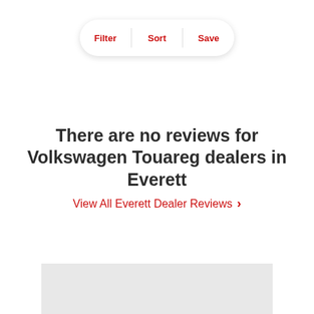[Figure (screenshot): Filter/Sort/Save pill-shaped button bar with three options separated by dividers]
There are no reviews for Volkswagen Touareg dealers in Everett
View All Everett Dealer Reviews >
[Figure (other): Light gray rectangle at the bottom of the page, likely a footer or ad placeholder]